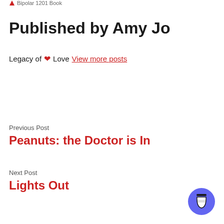Bipolar 1201 Book
Published by Amy Jo
Legacy of ❤ Love View more posts
Previous Post
Peanuts: the Doctor is In
Next Post
Lights Out